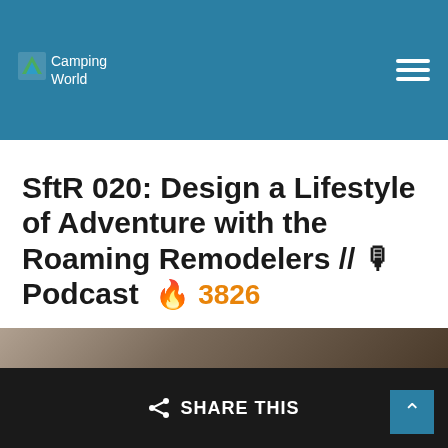Camping World
SftR 020: Design a Lifestyle of Adventure with the Roaming Remodelers // 🎙 Podcast  🔥 3826
Camping World
June 12, 2018 1:27 pm
[Figure (photo): Partial photo visible at the bottom of the page, cropped]
SHARE THIS